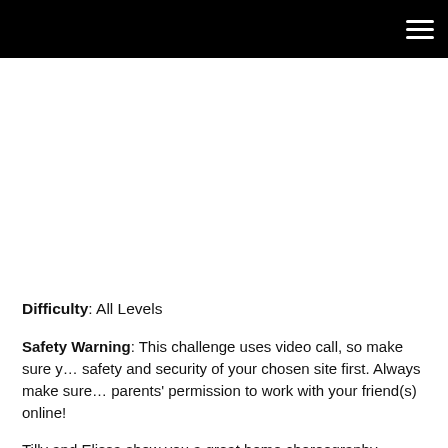Difficulty: All Levels
Safety Warning: This challenge uses video call, so make sure you check the safety and security of your chosen site first. Always make sure you have your parents' permission to work with your friend(s) online!
Tilly and Elissa show you a great home choreography challenge that you can do remotely with your friends! Using a game called Add On, you'll build up a sequence of moves together until you have a whole finished piece of cho…